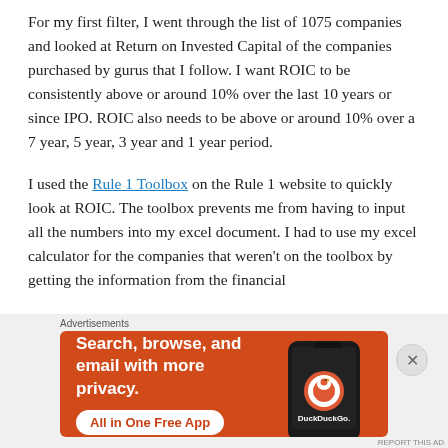For my first filter, I went through the list of 1075 companies and looked at Return on Invested Capital of the companies purchased by gurus that I follow. I want ROIC to be consistently above or around 10% over the last 10 years or since IPO. ROIC also needs to be above or around 10% over a 7 year, 5 year, 3 year and 1 year period.
I used the Rule 1 Toolbox on the Rule 1 website to quickly look at ROIC. The toolbox prevents me from having to input all the numbers into my excel document. I had to use my excel calculator for the companies that weren't on the toolbox by getting the information from the financial
[Figure (other): DuckDuckGo advertisement banner: orange background with text 'Search, browse, and email with more privacy.' and button 'All in One Free App', alongside a phone mockup showing DuckDuckGo logo]